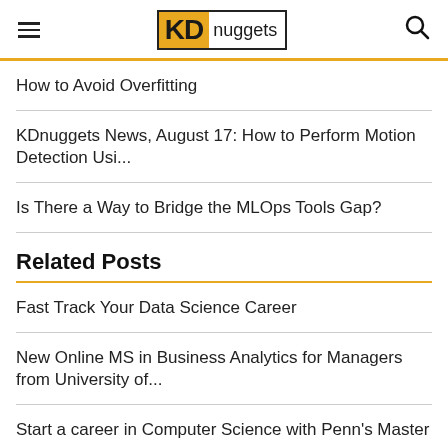KDnuggets
How to Avoid Overfitting
KDnuggets News, August 17: How to Perform Motion Detection Usi...
Is There a Way to Bridge the MLOps Tools Gap?
Related Posts
Fast Track Your Data Science Career
New Online MS in Business Analytics for Managers from University of...
Start a career in Computer Science with Penn's Master